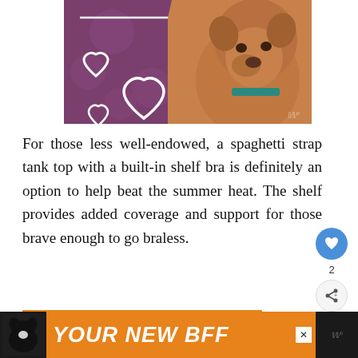[Figure (photo): Purple background banner image with white heart outlines and a brown/tan dog (pit bull type) on the right side with a teal collar]
For those less well-endowed, a spaghetti strap tank top with a built-in shelf bra is definitely an option to help beat the summer heat. The shelf provides added coverage and support for those brave enough to go braless.
[Figure (photo): Photo of a woman wearing a white spaghetti strap tank top with a tattoo visible on her arm]
[Figure (photo): WHAT'S NEXT: 10 Awesome Silver Sequi... - thumbnail of silver sequin clothing item]
[Figure (infographic): Orange advertisement banner with black dog silhouette and text YOUR NEW BFF]